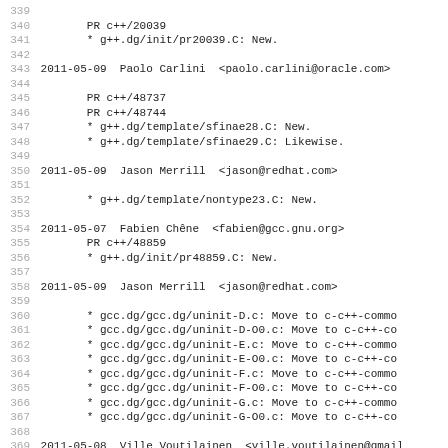Source code changelog/diff listing, lines 339-370, showing GCC compiler test suite changes by Paolo Carlini, Jason Merrill, Fabien Chene, and Ville Voutilainen dated 2011-05-07 through 2011-05-09.